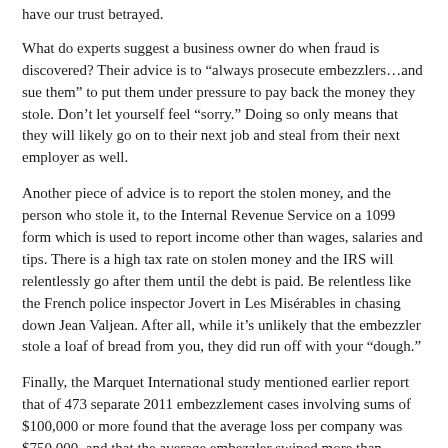have our trust betrayed.
What do experts suggest a business owner do when fraud is discovered? Their advice is to “always prosecute embezzlers…and sue them” to put them under pressure to pay back the money they stole. Don’t let yourself feel “sorry.” Doing so only means that they will likely go on to their next job and steal from their next employer as well.
Another piece of advice is to report the stolen money, and the person who stole it, to the Internal Revenue Service on a 1099 form which is used to report income other than wages, salaries and tips. There is a high tax rate on stolen money and the IRS will relentlessly go after them until the debt is paid. Be relentless like the French police inspector Jovert in Les Misérables in chasing down Jean Valjean. After all, while it’s unlikely that the embezzler stole a loaf of bread from you, they did run off with your “dough.”
Finally, the Marquet International study mentioned earlier report that of 473 separate 2011 embezzlement cases involving sums of $100,000 or more found that the average loss per company was $750,000, and that the average embezzler swiped more than $15,000 a month from their employer for five years before being caught.